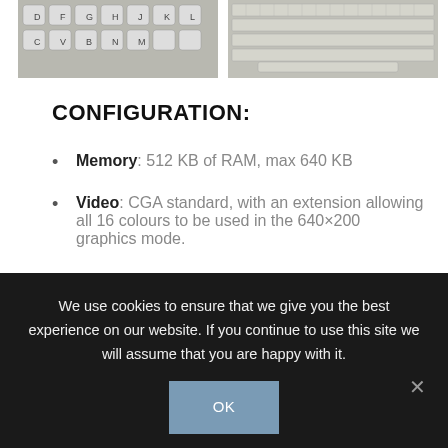[Figure (photo): Close-up photo of keyboard keys showing letters D, F, G, H, J, K, L, C, V, B, N, M]
[Figure (photo): Photo of a full Amstrad PC keyboard]
CONFIGURATION:
Memory: 512 KB of RAM, max 640 KB
Video: CGA standard, with an extension allowing all 16 colours to be used in the 640×200 graphics mode.
CPU: 8 MHz Intel 8086
OS: Amstrad licensed both MS-DOS 3.2
We use cookies to ensure that we give you the best experience on our website. If you continue to use this site we will assume that you are happy with it.